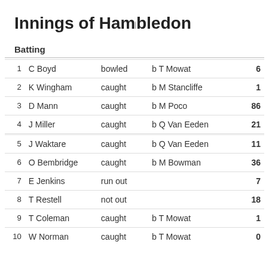Innings of Hambledon
Batting
| # | Name | How out | Bowler | Runs |
| --- | --- | --- | --- | --- |
| 1 | C Boyd | bowled | b T Mowat | 6 |
| 2 | K Wingham | caught | b M Stancliffe | 1 |
| 3 | D Mann | caught | b M Poco | 86 |
| 4 | J Miller | caught | b Q Van Eeden | 21 |
| 5 | J Waktare | caught | b Q Van Eeden | 11 |
| 6 | O Bembridge | caught | b M Bowman | 36 |
| 7 | E Jenkins | run out |  | 7 |
| 8 | T Restell | not out |  | 18 |
| 9 | T Coleman | caught | b T Mowat | 1 |
| 10 | W Norman | caught | b T Mowat | 0 |